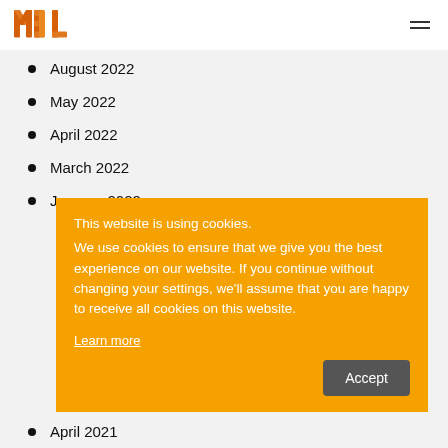MBL logo and navigation
August 2022
May 2022
April 2022
March 2022
January 2022
This website is using cookies. We use cookies to ensure that we give you the best experience on our website. If you continue without changing your settings, we'll assume that you are happy to receive all cookies on this website.
Learn more
April 2021